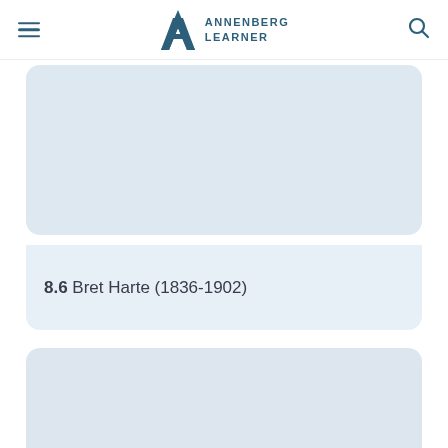ANNENBERG LEARNER
[Figure (other): Placeholder image area for a content card (light blue-gray rectangle)]
8.6 Bret Harte (1836-1902)
[Figure (other): Placeholder image area for a second content card (light blue-gray rectangle), partially visible]